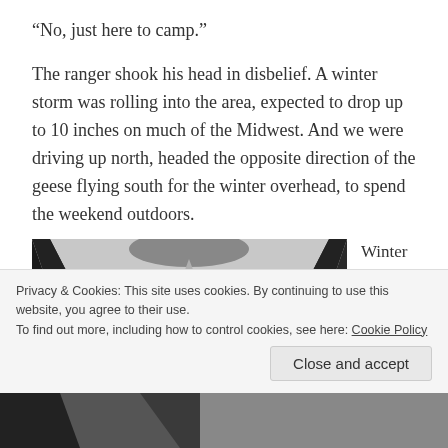“No, just here to camp.”
The ranger shook his head in disbelief. A winter storm was rolling into the area, expected to drop up to 10 inches on much of the Midwest. And we were driving up north, headed the opposite direction of the geese flying south for the winter overhead, to spend the weekend outdoors.
[Figure (photo): Black and white photo viewed from inside a tent looking outward, showing tent poles framing a snowy winter landscape with bare branches.]
Winter camping is one of
Privacy & Cookies: This site uses cookies. By continuing to use this website, you agree to their use.
To find out more, including how to control cookies, see here: Cookie Policy
Close and accept